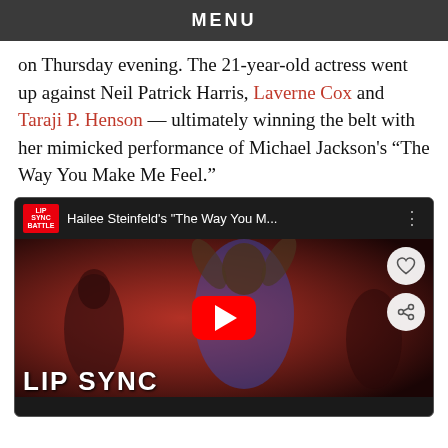MENU
on Thursday evening. The 21-year-old actress went up against Neil Patrick Harris, Laverne Cox and Taraji P. Henson — ultimately winning the belt with her mimicked performance of Michael Jackson's "The Way You Make Me Feel."
[Figure (screenshot): YouTube video thumbnail showing Hailee Steinfeld performing 'The Way You M...' on Lip Sync Battle. The thumbnail shows a performer in a blue sequined jacket with hands raised behind head, against a red background. A red YouTube play button is centered on the image. The Lip Sync Battle logo appears in the top left of the video player. 'LIP SYNC' text appears at the bottom. Two circular buttons (heart/favorite and share) appear on the right side.]